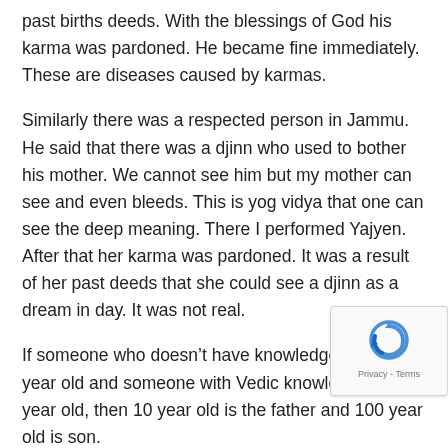past births deeds. With the blessings of God his karma was pardoned. He became fine immediately. These are diseases caused by karmas.
Similarly there was a respected person in Jammu. He said that there was a djinn who used to bother his mother. We cannot see him but my mother can see and even bleeds. This is yog vidya that one can see the deep meaning. There I performed Yajyen. After that her karma was pardoned. It was a result of her past deeds that she could see a djinn as a dream in day. It was not real.
If someone who doesn't have knowledge is 100 year old and someone with Vedic knowledge is 10 year old, then 10 year old is the father and 100 year old is son.
Wherever a yogi moves around and breathes, as a result the sorrows get eradicated there with the condition that people know that Rishis have come...